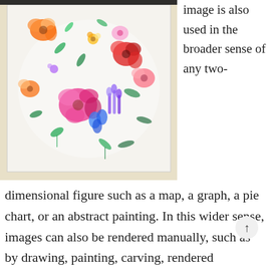[Figure (illustration): A photograph of a watercolor painting of colorful flowers — roses, daisies, leaves, lavender, and other botanical elements arranged in a circular composition on white paper, framed in a light gray/white frame on a pale yellow background.]
image is also used in the broader sense of any two-dimensional figure such as a map, a graph, a pie chart, or an abstract painting. In this wider sense, images can also be rendered manually, such as by drawing, painting, carving, rendered automatically by printing or computer graphics technology, or developed by a combination of methods. Images may be two-dimensional, such as a photograph, screen display, and as well as a three-dimensional, such as a statue or hologram.